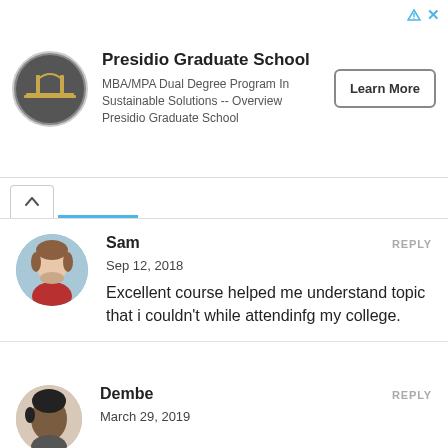[Figure (infographic): Advertisement banner for Presidio Graduate School with circular logo, title, description text, and Learn More button]
Sam
REPLY
Sep 12, 2018
Excellent course helped me understand topic that i couldn't while attendinfg my college.
Dembe
REPLY
March 29, 2019